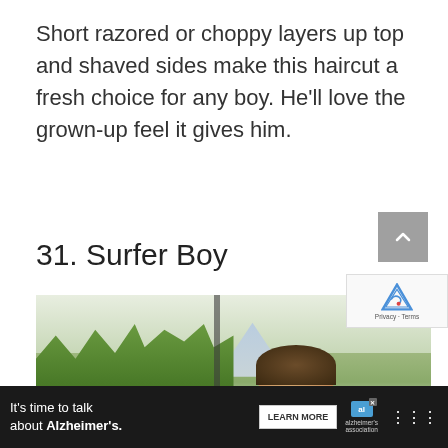Short razored or choppy layers up top and shaved sides make this haircut a fresh choice for any boy. He'll love the grown-up feel it gives him.
31. Surfer Boy
[Figure (photo): Outdoor photo of a young boy with curly hair, surrounded by green trees and a mountain in the background, partially visible at the bottom of the page.]
[Figure (other): Advertisement bar at the bottom: dark background with text 'It's time to talk about Alzheimer's.' with a Learn More button and Alzheimer's Association logo.]